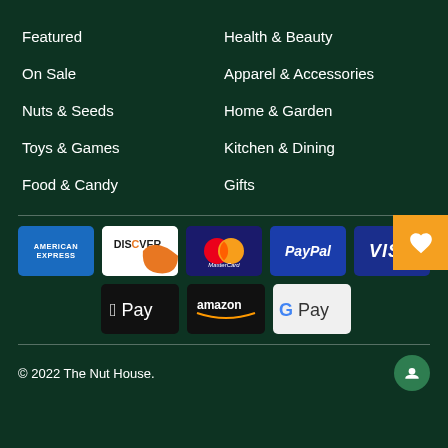Featured
On Sale
Nuts & Seeds
Toys & Games
Food & Candy
Health & Beauty
Apparel & Accessories
Home & Garden
Kitchen & Dining
Gifts
[Figure (infographic): Payment method logos: American Express, Discover, MasterCard, PayPal, Visa, Apple Pay, Amazon Pay, Google Pay]
© 2022 The Nut House.